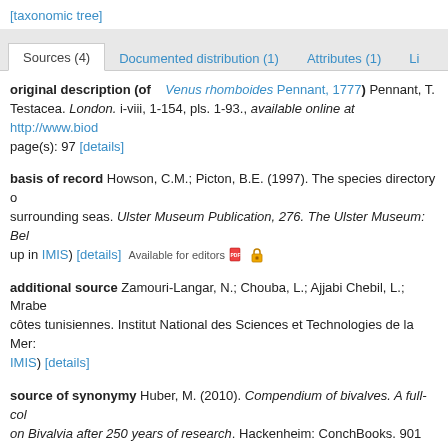[taxonomic tree]
Sources (4) | Documented distribution (1) | Attributes (1) | Li...
original description (of Venus rhomboides Pennant, 1777) Pennant, T. Testacea. London. i-viii, 1-154, pls. 1-93., available online at http://www.biod... page(s): 97 [details]
basis of record Howson, C.M.; Picton, B.E. (1997). The species directory o... surrounding seas. Ulster Museum Publication, 276. The Ulster Museum: Bel... up in IMIS) [details] Available for editors
additional source Zamouri-Langar, N.; Chouba, L.; Ajjabi Chebil, L.; Mrabet... côtes tunisiennes. Institut National des Sciences et Technologies de la Mer: ... IMIS) [details]
source of synonymy Huber, M. (2010). Compendium of bivalves. A full-col... on Bivalvia after 250 years of research. Hackenheim: ConchBooks. 901 pp.,...